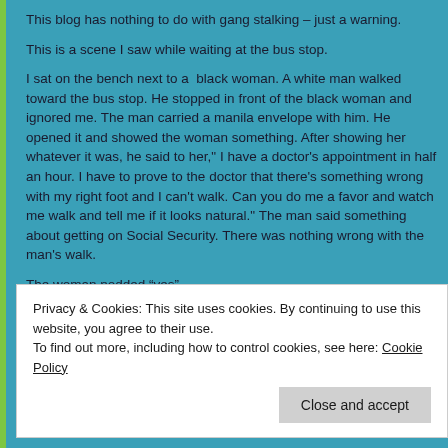This blog has nothing to do with gang stalking – just a warning.
This is a scene I saw while waiting at the bus stop.
I sat on the bench next to a  black woman. A white man walked toward the bus stop. He stopped in front of the black woman and ignored me. The man carried a manila envelope with him. He opened it and showed the woman something. After showing her whatever it was, he said to her," I have a doctor's appointment in half an hour. I have to prove to the doctor that there's something wrong with my right foot and I can't walk. Can you do me a favor and watch me walk and tell me if it looks natural." The man said something about getting on Social Security. There was nothing wrong with the man's walk.
The woman nodded “yes”.
Privacy & Cookies: This site uses cookies. By continuing to use this website, you agree to their use.
To find out more, including how to control cookies, see here: Cookie Policy
Close and accept